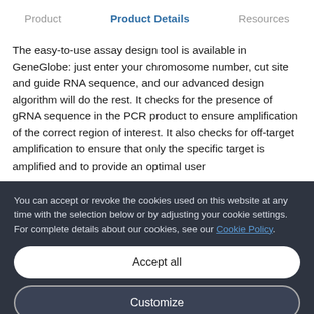Product | Product Details | Resources
The easy-to-use assay design tool is available in GeneGlobe: just enter your chromosome number, cut site and guide RNA sequence, and our advanced design algorithm will do the rest. It checks for the presence of gRNA sequence in the PCR product to ensure amplification of the correct region of interest. It also checks for off-target amplification to ensure that only the specific target is amplified and to provide an optimal user
You can accept or revoke the cookies used on this website at any time with the selection below or by adjusting your cookie settings. For complete details about our cookies, see our Cookie Policy.
Accept all
Customize
Only necessary